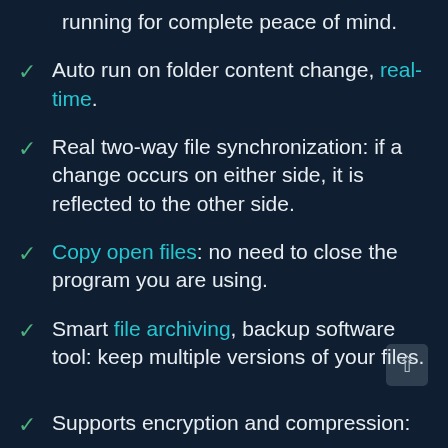running for complete peace of mind.
Auto run on folder content change, real-time.
Real two-way file synchronization: if a change occurs on either side, it is reflected to the other side.
Copy open files: no need to close the program you are using.
Smart file archiving, backup software tool: keep multiple versions of your files.
Supports encryption and compression: